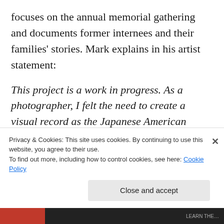focuses on the annual memorial gathering and documents former internees and their families' stories. Mark explains in his artist statement:
This project is a work in progress. As a photographer, I felt the need to create a visual record as the Japanese American community struggled to preserve the site, its history and legacy. My primary role is that of a witness. The process of witnessing the pilgrimages over many years has given me the time to attempt a holistic photographic document. Within this body of work I hope to
Privacy & Cookies: This site uses cookies. By continuing to use this website, you agree to their use.
To find out more, including how to control cookies, see here: Cookie Policy
Close and accept